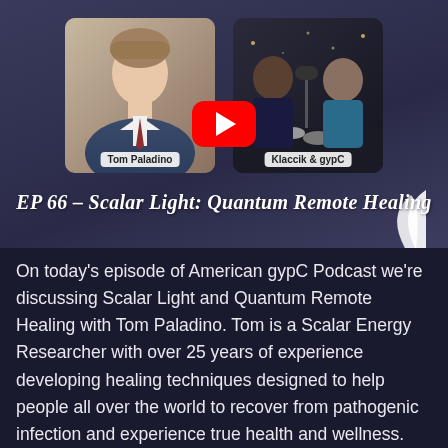[Figure (screenshot): Podcast episode banner with two photos (Tom Paladino headshot on left, Klaccik & gypC podcast hosts on right), YouTube play button overlay in center, and episode title 'EP 66 - Scalar Light: Quantum Remote Healing' at bottom of banner]
On today's episode of American gypC Podcast we're discussing Scalar Light and Quantum Remote Healing with Tom Paladino. Tom is a Scalar Energy Researcher with over 25 years of experience developing healing techniques designed to help people all over the world to recover from pathogenic infection and experience true health and wellness.